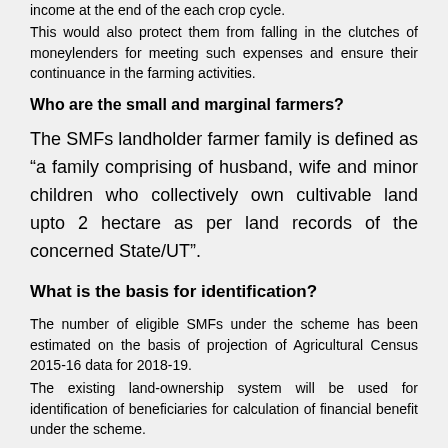income at the end of the each crop cycle.
This would also protect them from falling in the clutches of moneylenders for meeting such expenses and ensure their continuance in the farming activities.
Who are the small and marginal farmers?
The SMFs landholder farmer family is defined as “a family comprising of husband, wife and minor children who collectively own cultivable land upto 2 hectare as per land records of the concerned State/UT”.
What is the basis for identification?
The number of eligible SMFs under the scheme has been estimated on the basis of projection of Agricultural Census 2015-16 data for 2018-19.
The existing land-ownership system will be used for identification of beneficiaries for calculation of financial benefit under the scheme.